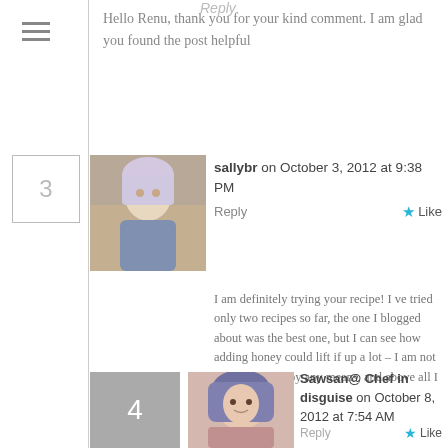Hello Renu, thank you for your kind comment. I am glad you found the post helpful
sallybr on October 3, 2012 at 9:38 PM  Reply  Like
I am definitely trying your recipe! I ve tried only two recipes so far, the one I blogged about was the best one, but I can see how adding honey could lift if up a lot – I am not a traditionalist by any means, and above all I trust you!
Sawsan@ Chef in disguise on October 8, 2012 at 7:54 AM  Reply  Like